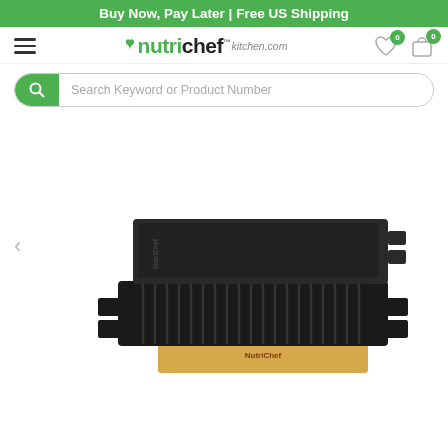Buy Now, Pay Later | Free US Shipping
[Figure (logo): NutriChef kitchen.com logo with hamburger menu, heart icon with badge 0, and shopping bag icon with badge 0]
[Figure (screenshot): Search bar with green search button icon and placeholder text: Search Keyword or Product Number]
[Figure (photo): Product photo of a reversible cast iron griddle/grill pan set, showing smooth flat side on top and ridged grill side below, stacked with a NutriChef branded box at the bottom. A left navigation arrow is visible on the left side.]